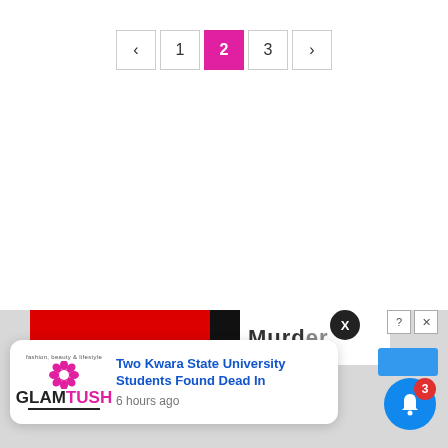[Figure (screenshot): Pagination controls showing page navigation with buttons: left arrow, 1, 2 (active/highlighted in pink), 3, right arrow]
[Figure (screenshot): Advertisement strip banner partially visible, showing red bar, black bar, and the word 'Murder' partially visible, with X close button and ad controls]
[Figure (screenshot): Notification popup card from GlamTush website showing: 'Two Kwara State University Students Found Dead In' with timestamp '6 hours ago']
[Figure (screenshot): Blue circular bell notification button with red badge showing count 3, in bottom right corner]